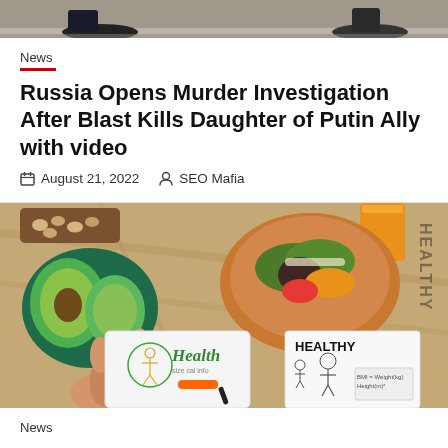[Figure (photo): Top portion of image showing shoes/feet on a street surface, cropped]
News
Russia Opens Murder Investigation After Blast Kills Daughter of Putin Ally with video
August 21, 2022   SEO Mafia
[Figure (photo): Overhead photo of a wooden table with avocado, bowl of mixed salad, nuts on a tray, an orange juice, a health notebook with a figure diagram and the word Health, and a HEALTHY document with BMI information]
News